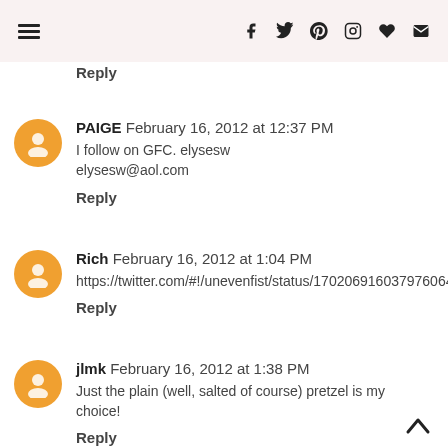Menu | f | twitter | pinterest | instagram | heart | email
Reply
PAIGE  February 16, 2012 at 12:37 PM
I follow on GFC. elysesw
elysesw@aol.com
Reply
Rich  February 16, 2012 at 1:04 PM
https://twitter.com/#!/unevenfist/status/170206916037976064
Reply
jlmk  February 16, 2012 at 1:38 PM
Just the plain (well, salted of course) pretzel is my choice!
Reply